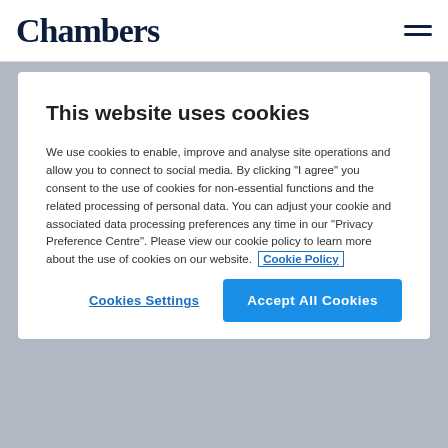Chambers
This website uses cookies
We use cookies to enable, improve and analyse site operations and allow you to connect to social media. By clicking "I agree" you consent to the use of cookies for non-essential functions and the related processing of personal data. You can adjust your cookie and associated data processing preferences any time in our "Privacy Preference Centre". Please view our cookie policy to learn more about the use of cookies on our website. Cookie Policy
Cookies Settings
Accept All Cookies
ASW Law
3 ranked departments • 5 ranked lawyers • Contact information
Leading, specialist, corporate and commercial,